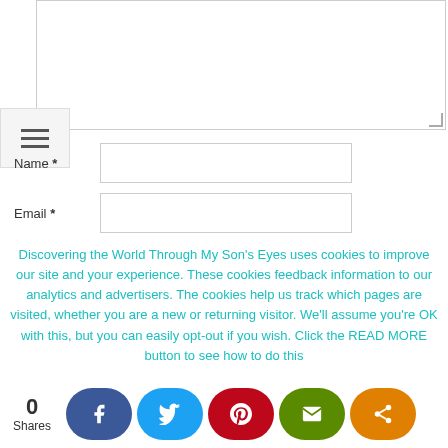[Figure (screenshot): Comment form textarea (empty, resizable) at the top of the page]
[Figure (screenshot): Hamburger/menu icon button (three horizontal lines) in a grey box on the left]
Name *
Email *
Discovering the World Through My Son's Eyes uses cookies to improve our site and your experience. These cookies feedback information to our analytics and advertisers. The cookies help us track which pages are visited, whether you are a new or returning visitor. We'll assume you're OK with this, but you can easily opt-out if you wish. Click the READ MORE button to see how to do this
0
Shares
[Figure (screenshot): Social share buttons row: Facebook (blue), Twitter (cyan), Pinterest (red), Email (green), Share (orange)]